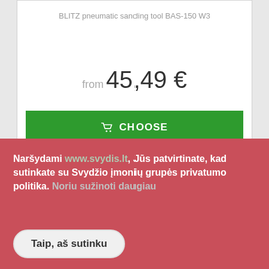BLITZ pneumatic sanding tool BAS-150 W3
from 45,49 €
CHOOSE
[Figure (photo): Partial view of a blue and white tool/product, partially visible at the bottom of the second product card]
Naršydami www.svydis.lt, Jūs patvirtinate, kad sutinkate su Svydžio įmonių grupės privatumo politika. Noriu sužinoti daugiau
Taip, aš sutinku